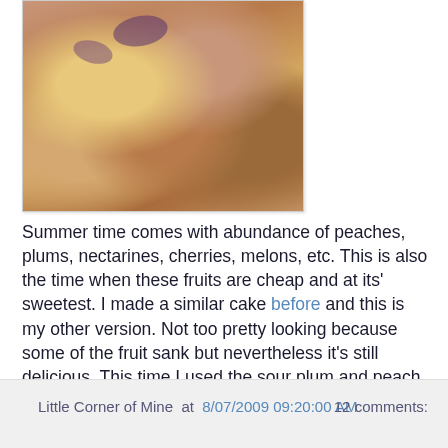[Figure (photo): Close-up photo of a fruit cake with peaches and plums, showing golden-brown crumble topping with purple plum pieces and pale peach slices visible underneath the crust.]
Summer time comes with abundance of peaches, plums, nectarines, cherries, melons, etc. This is also the time when these fruits are cheap and at its' sweetest. I made a similar cake before and this is my other version. Not too pretty looking because some of the fruit sank but nevertheless it's still delicious. This time I used the sour plum and peach for my choice of fruit and thus I used 1 cup of sugar for my cake to counteract the sourness of the fruit. If your choice of fruit is sweet, you can use 3/4 cup of sugar. And remember to put this cake in the refrigerator as the moisture from the fruit will turn moldy if not.
Little Corner of Mine at 8/07/2009 09:20:00 AM    12 comments: